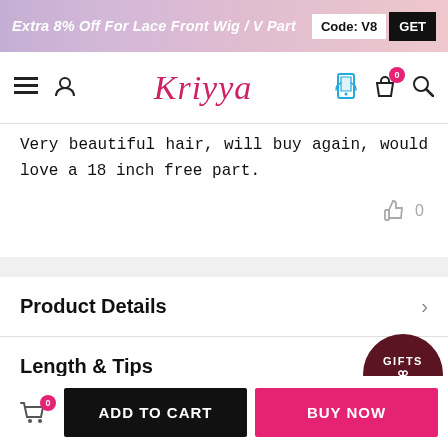Extra 8% Off For Lace Front Wig / V Part  Code: V8  GET
[Figure (logo): Kriyya brand logo with navigation icons: hamburger menu, user icon, Kriyya script logo, phone/app icon, shopping bag with 0 badge, search icon]
Very beautiful hair, will buy again, would love a 18 inch free part.
Product Details
Length & Tips
Shipping & Return
[Figure (illustration): Gifts badge with $100 offer shown as two overlapping dark circles with text GIFTS and $100 with tablet icon]
ADD TO CART  BUY NOW